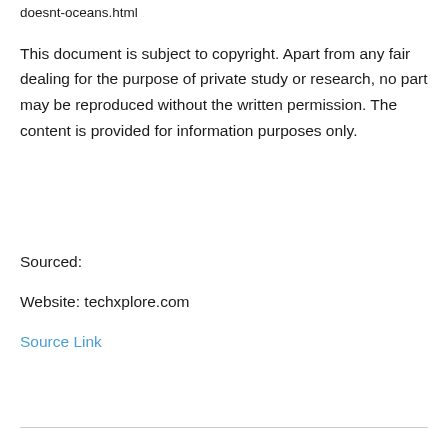doesnt-oceans.html
This document is subject to copyright. Apart from any fair dealing for the purpose of private study or research, no part may be reproduced without the written permission. The content is provided for information purposes only.
Sourced:
Website: techxplore.com
Source Link